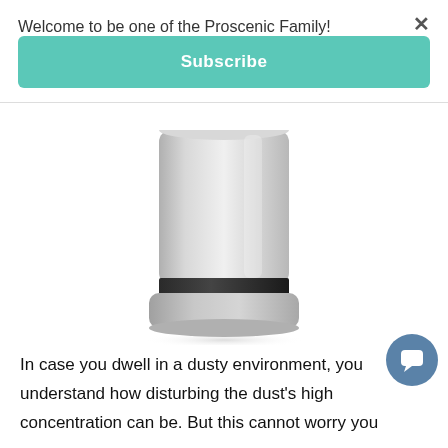Welcome to be one of the Proscenic Family!
Subscribe
[Figure (photo): Silver cylindrical air purifier device showing the lower body and base with a dark ring accent, on a white background.]
In case you dwell in a dusty environment, you understand how disturbing the dust's high concentration can be. But this cannot worry you